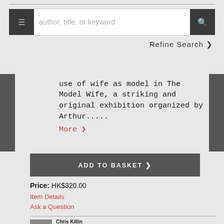[Figure (screenshot): Search bar with hamburger icon button on left, text input showing 'author, title, or keyword' placeholder, and search icon button on right]
Refine Search ❯
use of wife as model in The Model Wife, a striking and original exhibition organized by Arthur.....
More ❯
ADD TO BASKET ❯
Price: HK$320.00
Item Details
Ask a Question
Chris Killin